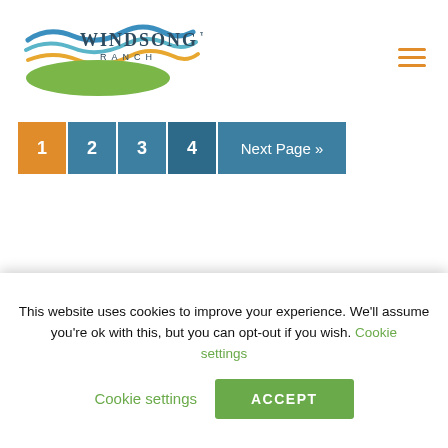[Figure (logo): Windsong Ranch logo with wave graphic in blue, teal, gold, and green colors, with text WINDSONG RANCH]
[Figure (other): Hamburger menu icon with three horizontal orange lines]
1 2 3 4 Next Page »
[Figure (other): Social media icons: Facebook (circle F) and Instagram (circle camera) in white on teal background]
Sign up for updates
This website uses cookies to improve your experience. We'll assume you're ok with this, but you can opt-out if you wish. Cookie settings ACCEPT